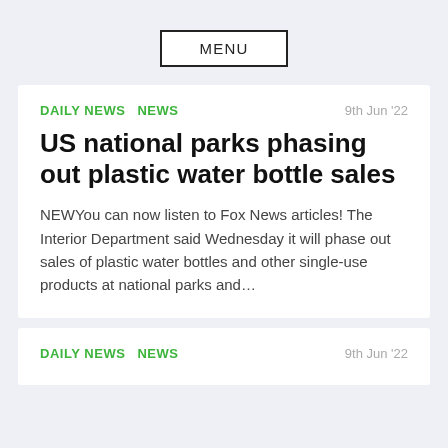MENU
DAILY NEWS  NEWS
9th Jun '22
US national parks phasing out plastic water bottle sales
NEWYou can now listen to Fox News articles! The Interior Department said Wednesday it will phase out sales of plastic water bottles and other single-use products at national parks and…
DAILY NEWS  NEWS
9th Jun '22